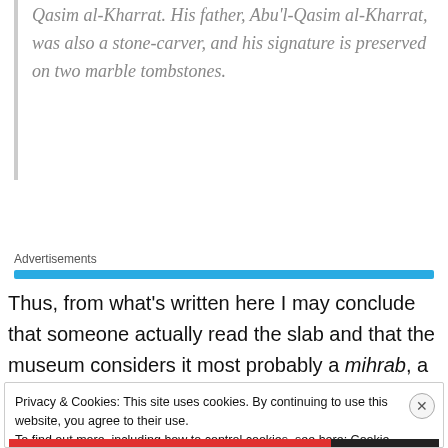Qasim al-Kharrat. His father, Abu'l-Qasim al-Kharrat, was also a stone-carver, and his signature is preserved on two marble tombstones.
Advertisements
Thus, from what's written here I may conclude that someone actually read the slab and that the museum considers it most probably a mihrab, a prayer niche, even though it also admits that the image of the mihrab
Privacy & Cookies: This site uses cookies. By continuing to use this website, you agree to their use.
To find out more, including how to control cookies, see here: Cookie Policy
Close and accept